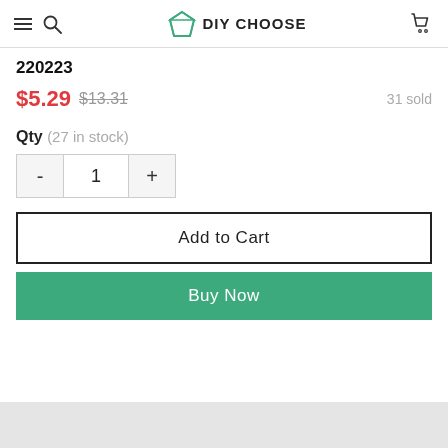DIY CHOOSE
220223
$5.29  $13.31  31 sold
Qty (27 in stock)
- 1 +
Add to Cart
Buy Now